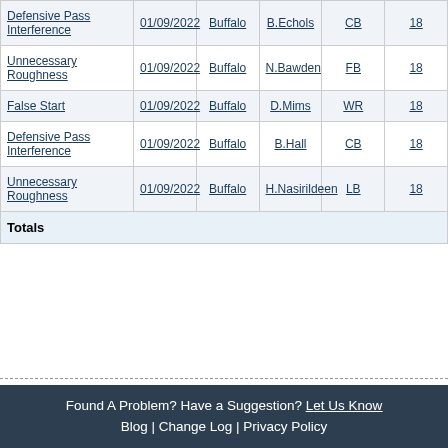| Penalty | Date | Team | Player | Pos | Week |
| --- | --- | --- | --- | --- | --- |
| Defensive Pass Interference | 01/09/2022 | Buffalo | B.Echols | CB | 18 |
| Unnecessary Roughness | 01/09/2022 | Buffalo | N.Bawden | FB | 18 |
| False Start | 01/09/2022 | Buffalo | D.Mims | WR | 18 |
| Defensive Pass Interference | 01/09/2022 | Buffalo | B.Hall | CB | 18 |
| Unnecessary Roughness | 01/09/2022 | Buffalo | H.Nasirildeen | LB | 18 |
| Totals |  |  |  |  |  |
Found A Problem? Have a Suggestion? Let Us Know Blog | Change Log | Privacy Policy